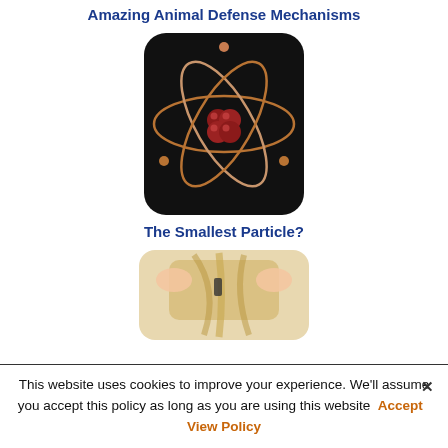Amazing Animal Defense Mechanisms
[Figure (illustration): Atom model illustration on black rounded-square background with copper-colored orbital rings and red spherical nucleus particles]
The Smallest Particle?
[Figure (photo): Person with blonde hair being braided or styled by hands, shown from behind, rounded rectangle frame]
This website uses cookies to improve your experience. We'll assume you accept this policy as long as you are using this website  Accept   View Policy